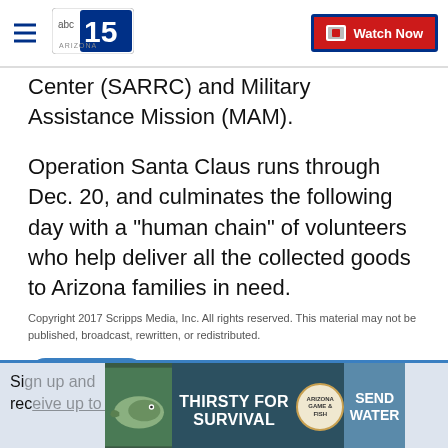ABC15 Arizona — hamburger menu, logo, Watch Now button
Center (SARRC) and Military Assistance Mission (MAM).
Operation Santa Claus runs through Dec. 20, and culminates the following day with a "human chain" of volunteers who help deliver all the collected goods to Arizona families in need.
Copyright 2017 Scripps Media, Inc. All rights reserved. This material may not be published, broadcast, rewritten, or redistributed.
Report a typo
Sign up and receive up to date information.
[Figure (advertisement): Thirsty for Survival Arizona Game & Fish Send Water advertisement banner]